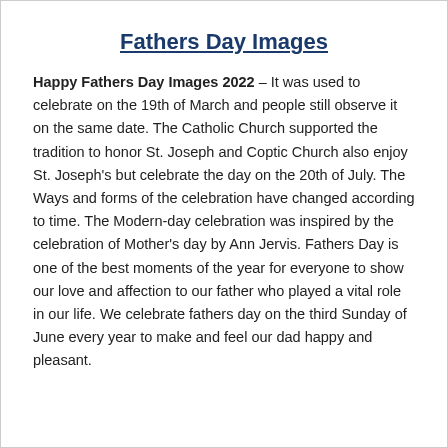Fathers Day Images
Happy Fathers Day Images 2022 – It was used to celebrate on the 19th of March and people still observe it on the same date. The Catholic Church supported the tradition to honor St. Joseph and Coptic Church also enjoy St. Joseph's but celebrate the day on the 20th of July. The Ways and forms of the celebration have changed according to time. The Modern-day celebration was inspired by the celebration of Mother's day by Ann Jervis. Fathers Day is one of the best moments of the year for everyone to show our love and affection to our father who played a vital role in our life. We celebrate fathers day on the third Sunday of June every year to make and feel our dad happy and pleasant.